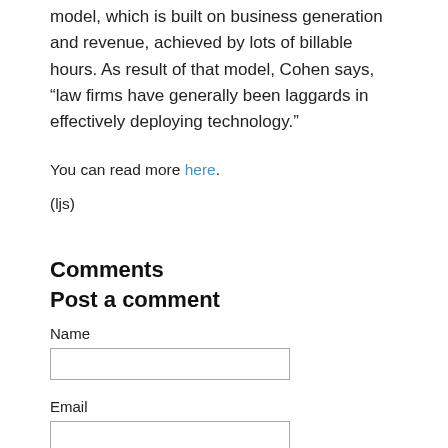model, which is built on business generation and revenue, achieved by lots of billable hours. As result of that model, Cohen says, “law firms have generally been laggards in effectively deploying technology.”
You can read more here.
(ljs)
Comments
Post a comment
Name
Email
URL